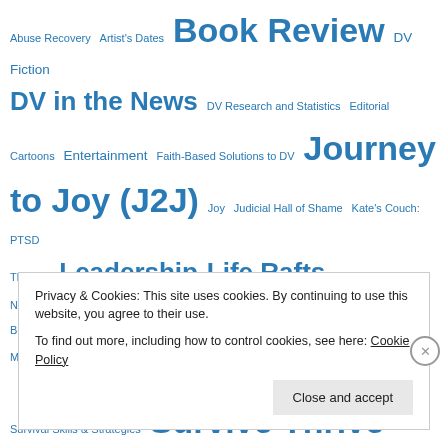Abuse Recovery  Artist's Dates  Book Review  DV Fiction  DV in the News  DV Research and Statistics  Editorial Cartoons  Entertainment  Faith-Based Solutions to DV  Journey to Joy (J2J)  Joy  Judicial Hall of Shame  Kate's Couch: PTSD Therapy  Leadership  Life Rafts  Litigation Abuse  Narcissists & Bullies  One Billion Rising  Protection Circles  PTSD: What Works for Me  Quick & Dirty Gourmet  Religious Abuse  Shooting Rampages  Survival Skills & Strategies  Survive Thrive Joy  Tell It Sista!  Thriving  Uncategorized  Violence Against Women  Violence Prevention
Privacy & Cookies: This site uses cookies. By continuing to use this website, you agree to their use.
To find out more, including how to control cookies, see here: Cookie Policy
Close and accept